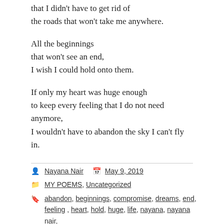that I didn't have to get rid of
the roads that won't take me anywhere.
All the beginnings
that won't see an end,
I wish I could hold onto them.
If only my heart was huge enough
to keep every feeling that I do not need anymore,
I wouldn't have to abandon the sky I can't fly in.
Nayana Nair   May 9, 2019
MY POEMS, Uncategorized
abandon, beginnings, compromise, dreams, end, feeling, heart, hold, huge, life, nayana, nayana nair,